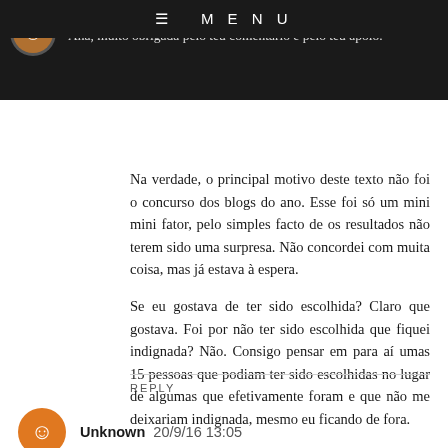Bárbara Marques · 21/9/16 10:45
Ana, muito obrigada pelo teu comentário e pelo teu apoio.
Na verdade, o principal motivo deste texto não foi o concurso dos blogs do ano. Esse foi só um mini mini fator, pelo simples facto de os resultados não terem sido uma surpresa. Não concordei com muita coisa, mas já estava à espera.
Se eu gostava de ter sido escolhida? Claro que gostava. Foi por não ter sido escolhida que fiquei indignada? Não. Consigo pensar em para aí umas 15 pessoas que podiam ter sido escolhidas no lugar de algumas que efetivamente foram e que não me deixariam indignada, mesmo eu ficando de fora.
Um grande beijinho e mais uma vez, obrigada :)
REPLY
Unknown  20/9/16 13:05